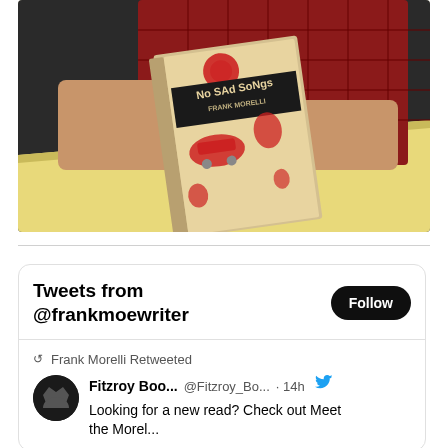[Figure (photo): Person in red plaid shirt holding a book titled 'No SAd SoNgs' by Frank Morelli, with red and cream illustrated cover, sitting at a yellow table against a dark background.]
Tweets from @frankmoewriter
Follow
Frank Morelli Retweeted
Fitzroy Boo... @Fitzroy_Bo... · 14h
Looking for a new read? Check out Meet the Morel...